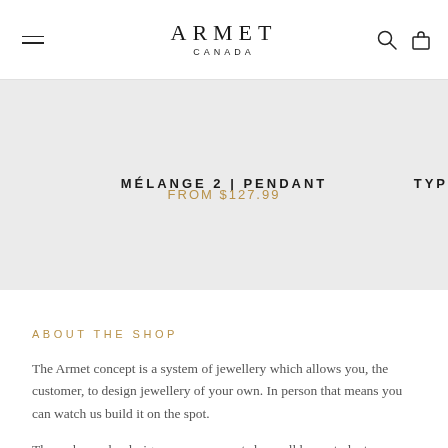ARMET CANADA
MÉLANGE 2 | PENDANT
FROM $127.99
TYP
ABOUT THE SHOP
The Armet concept is a system of jewellery which allows you, the customer, to design jewellery of your own. In person that means you can watch us build it on the spot.
The makers who design our components have all been students